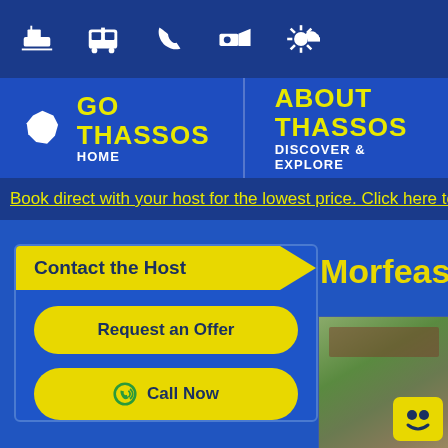[Figure (screenshot): Top navigation bar with white icons: ferry/boat, bus, phone, camera/CCTV, and weather/settings icon on dark blue background]
[Figure (screenshot): Website navigation with Go Thassos logo and HOME link, and ABOUT THASSOS / DISCOVER & EXPLORE link on blue background]
Book direct with your host for the lowest price. Click here to s
Contact the Host
Request an Offer
Call Now
Morfeas Villa
[Figure (photo): Aerial or elevated photo of Morfeas Villa property with trees and a smiley face emoji badge overlay]